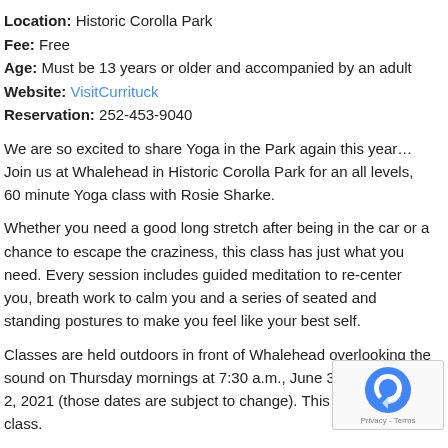Location: Historic Corolla Park
Fee: Free
Age: Must be 13 years or older and accompanied by an adult
Website: VisitCurrituck
Reservation: 252-453-9040
We are so excited to share Yoga in the Park again this year… Join us at Whalehead in Historic Corolla Park for an all levels, 60 minute Yoga class with Rosie Sharke.
Whether you need a good long stretch after being in the car or a chance to escape the craziness, this class has just what you need. Every session includes guided meditation to re-center you, breath work to calm you and a series of seated and standing postures to make you feel like your best self.
Classes are held outdoors in front of Whalehead overlooking the sound on Thursday mornings at 7:30 a.m., June 3 – September 2, 2021 (those dates are subject to change). This is a FREE class.
Please bring: